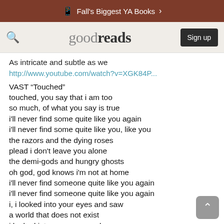Fall's Biggest YA Books >
[Figure (logo): Goodreads logo with search icon and Sign up button]
As intricate and subtle as we
http://www.youtube.com/watch?v=XGK84P...
VAST “Touched”
touched, you say that i am too
so much, of what you say is true
i'll never find some quite like you again
i'll never find some quite like you, like you
the razors and the dying roses
plead i don't leave you alone
the demi-gods and hungry ghosts
oh god, god knows i'm not at home
i'll never find someone quite like you again
i'll never find someone quite like you again
i, i looked into your eyes and saw
a world that does not exist
i looked into your eyes and saw
a world i wish i was in
i'll never find some quite as touched as you